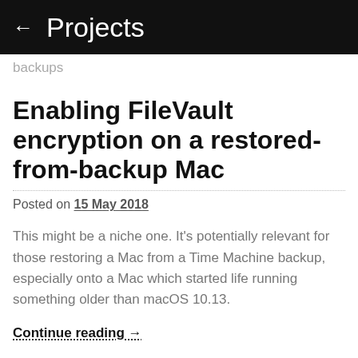← Projects
backups
Enabling FileVault encryption on a restored-from-backup Mac
Posted on 15 May 2018
This might be a niche one. It's potentially relevant for those restoring a Mac from a Time Machine backup, especially onto a Mac which started life running something older than macOS 10.13.
Continue reading →
Posted in Security
Tagged backups, encryption, FileVault, macOS, Time Machine